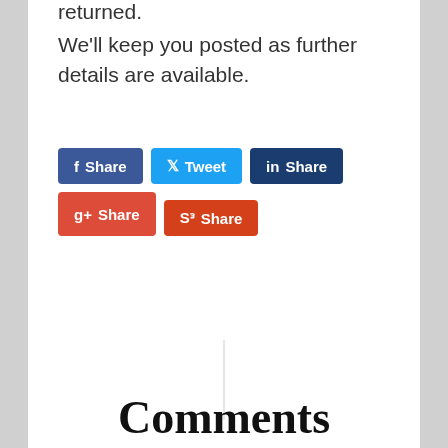returned.
We'll keep you posted as further details are available.
[Figure (other): Social share buttons: Facebook Share, Tweet, LinkedIn Share, Google+ Share, StumbleUpon Share]
[Figure (other): Vertical divider line]
Comments